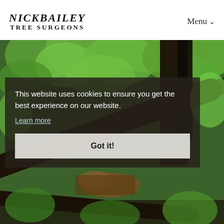NICKBAILEY TREE SURGEONS
Menu
[Figure (photo): Photograph of fallen and damaged trees in a densely leafy woodland area, showing a large fallen tree trunk amid green foliage and other trees.]
This website uses cookies to ensure you get the best experience on our website. Learn more
Got it!